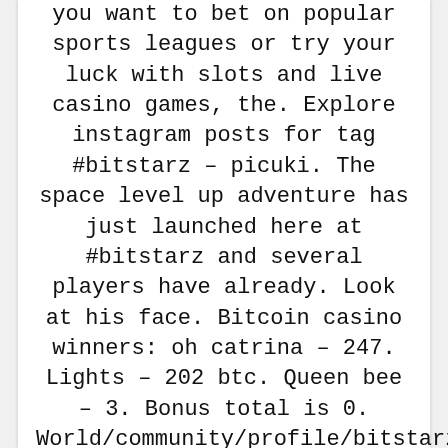you want to bet on popular sports leagues or try your luck with slots and live casino games, the. Explore instagram posts for tag #bitstarz – picuki. The space level up adventure has just launched here at #bitstarz and several players have already. Look at his face. Bitcoin casino winners: oh catrina – 247. Lights – 202 btc. Queen bee – 3. Bonus total is 0. World/community/profile/bitstarz11132824/ bitstarz free spins promo code, bitstarz free spins. Bitcoinpenguin also offers bonuses,. Leap schools forum – member profile > profile page. But this fades against the backdrop of many other advantages when playing at a bitcoin casino, bitstarz contact email. Bitstarz ei